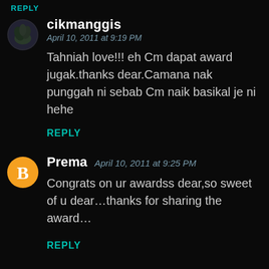REPLY
[Figure (photo): Circular avatar photo of user cikmanggis, dark background with plant-like silhouette]
cikmanggis
April 10, 2011 at 9:19 PM
Tahniah love!!! eh Cm dapat award jugak.thanks dear.Camana nak punggah ni sebab Cm naik basikal je ni hehe
REPLY
[Figure (logo): Orange circular Blogger 'B' logo icon for user Prema]
Prema  April 10, 2011 at 9:25 PM
Congrats on ur awardss dear,so sweet of u dear…thanks for sharing the award…
REPLY